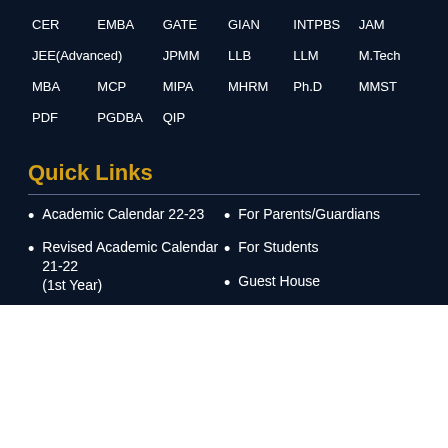CER
EMBA
GATE
GIAN
INTPBS
JAM
JEE(Advanced)
JPMM
LLB
LLM
M.Tech
MBA
MCP
MIPA
MHRM
Ph.D
MMST
PDF
PGDBA
QIP
Quick Links
Academic Calendar 22-23
For Parents/Guardians
Revised Academic Calendar 21-22 (1st Year)
For Students
Guest House